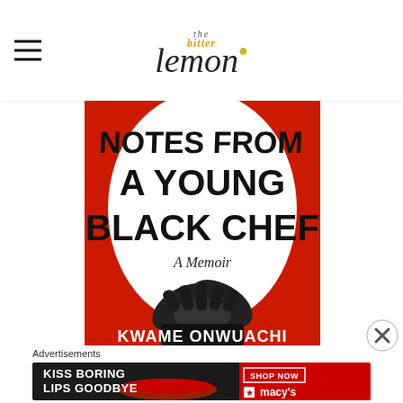the bitter lemon
[Figure (photo): Book cover of 'Notes from a Young Black Chef: A Memoir' by Kwame Onwuachi. Red background with large white oval silhouette, bold black hand-lettered title text, and black-and-white photo of crossed hands in chef's whites.]
Advertisements
[Figure (photo): Macy's advertisement: 'KISS BORING LIPS GOODBYE' with a close-up of red lips, 'SHOP NOW' button, and Macy's star logo on dark background.]